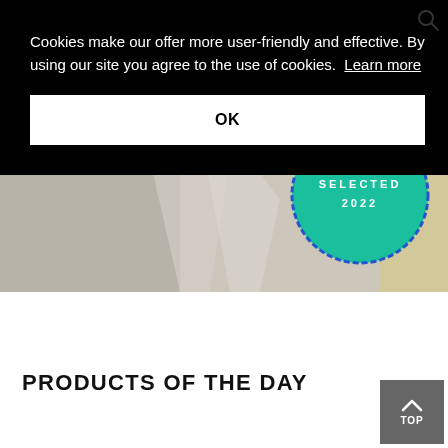[Figure (screenshot): Interior design scene with 'SELECTED 2022' teal badge, showing floor lamps with colored bases (blue and red) against light walls, partially visible behind the cookie banner overlay]
Cookies make our offer more user-friendly and effective. By using our site you agree to the use of cookies. Learn more
OK
PRODUCTS OF THE DAY
TOP